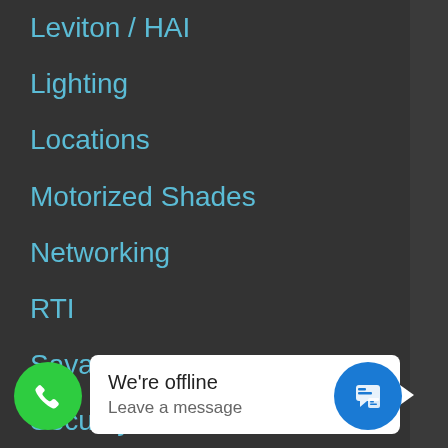Leviton / HAI
Lighting
Locations
Motorized Shades
Networking
RTI
Savant
Security
Self Cleaning Homes
Tips & Guides
Unique Custom Stuff
We're offline
Leave a message